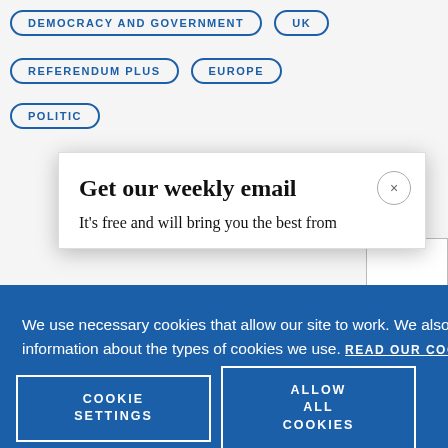DEMOCRACY AND GOVERNMENT
UK
REFERENDUM PLUS
EUROPE
POLITIC
[Figure (screenshot): Modal dialog with title 'Get our weekly email' and subtitle text 'It's free and will bring you the best from', with a close button (×) in the top right corner.]
We use necessary cookies that allow our site to work. We also set optional cookies that help us improve our website. For more information about the types of cookies we use. READ OUR COOKIES POLICY HERE
COOKIE SETTINGS
ALLOW ALL COOKIES
data.